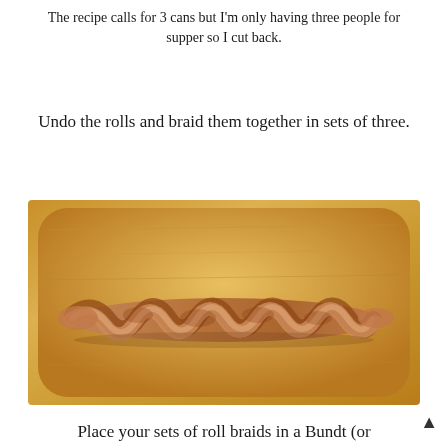The recipe calls for 3 cans but I'm only having three people for supper so I cut back.
Undo the rolls and braid them together in sets of three.
[Figure (photo): A braided cinnamon roll dough braid on a wooden cutting board, photographed from above on a kitchen counter.]
Place your sets of roll braids in a Bundt (or